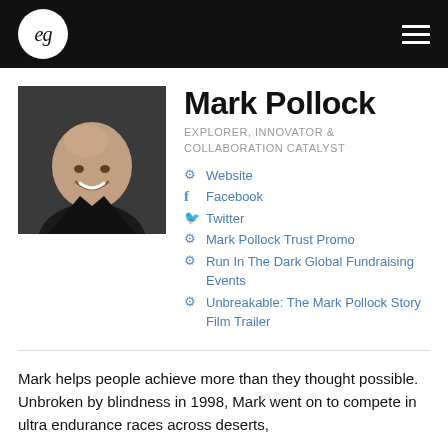eg
[Figure (photo): Headshot of Mark Pollock, a bald man smiling, wearing a black shirt, against a dark background]
Mark Pollock
EXPLORER, INNOVATOR & COLLABORATION CATALYST
Website
Facebook
Twitter
Mark Pollock Trust Promo
Run In The Dark Global Fundraising Events
Unbreakable: The Mark Pollock Story Film Trailer
Mark helps people achieve more than they thought possible. Unbroken by blindness in 1998, Mark went on to compete in ultra endurance races across deserts,